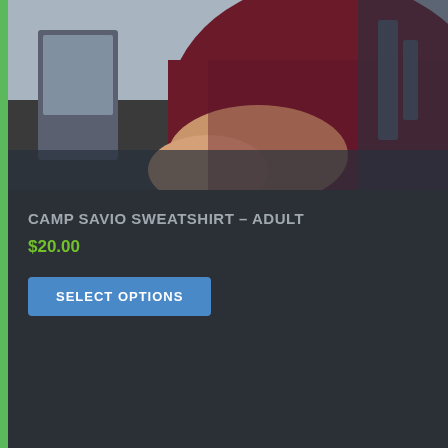[Figure (photo): Photo of a person wearing a dark maroon/burgundy sweatshirt, shown from the torso area, with a blurred outdoor background.]
CAMP SAVIO SWEATSHIRT – ADULT
$20.00
SELECT OPTIONS